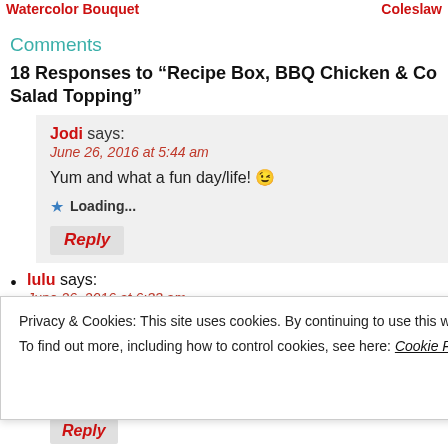Watercolor Bouquet ... Coleslaw
Comments
18 Responses to “Recipe Box, BBQ Chicken & Co Salad Topping”
Jodi says:
June 26, 2016 at 5:44 am
Yum and what a fun day/life! 😉
★ Loading...
Reply
lulu says:
June 26, 2016 at 6:33 am
Privacy & Cookies: This site uses cookies. By continuing to use this website, you agree to their use.
To find out more, including how to control cookies, see here: Cookie Policy
Close and accept
Reply